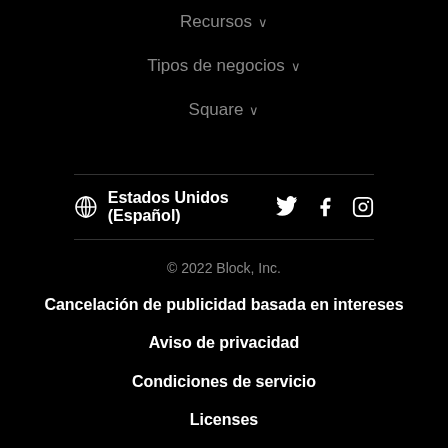Recursos ∨
Tipos de negocios ∨
Square ∨
Estados Unidos (Español)
© 2022 Block, Inc.
Cancelación de publicidad basada en intereses
Aviso de privacidad
Condiciones de servicio
Licenses